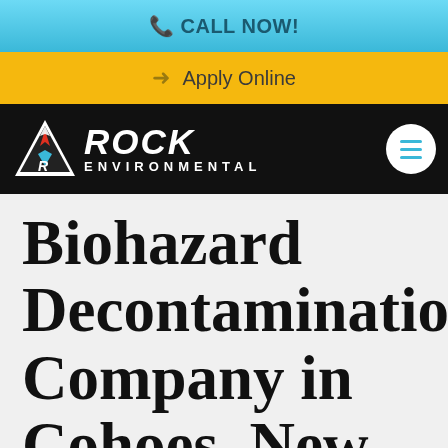CALL NOW!
Apply Online
[Figure (logo): Rock Environmental company logo with triangle icon and hamburger menu button on black navigation bar]
Biohazard Decontamination Company in Cohoes, New [York]